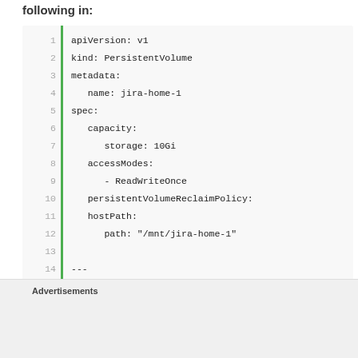following in:
1  apiVersion: v1
2  kind: PersistentVolume
3  metadata:
4      name: jira-home-1
5  spec:
6      capacity:
7          storage: 10Gi
8      accessModes:
9          - ReadWriteOnce
10     persistentVolumeReclaimPolicy:
11     hostPath:
12         path: "/mnt/jira-home-1"
13
14 ---
15
16 apiVersion: v1
17 kind: PersistentVolume
18 metadata:
Advertisements